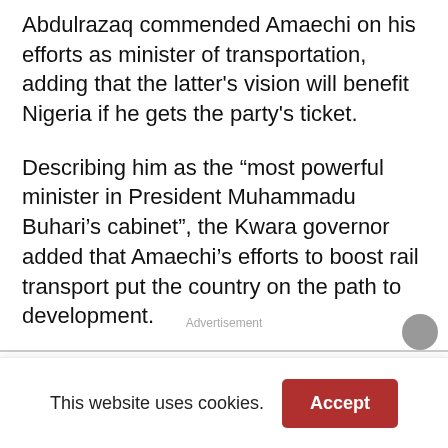Abdulrazaq commended Amaechi on his efforts as minister of transportation, adding that the latter's vision will benefit Nigeria if he gets the party's ticket.
Describing him as the “most powerful minister in President Muhammadu Buhari’s cabinet”, the Kwara governor added that Amaechi’s efforts to boost rail transport put the country on the path to development.
Advertisement